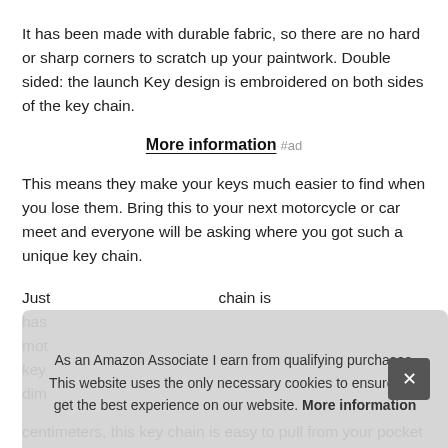It has been made with durable fabric, so there are no hard or sharp corners to scratch up your paintwork. Double sided: the launch Key design is embroidered on both sides of the key chain.
More information #ad
This means they make your keys much easier to find when you lose them. Bring this to your next motorcycle or car meet and everyone will be asking where you got such a unique key chain.
Just [partially obscured text] has [partially obscured] mot [partially obscured] key [partially obscured] dim [partially obscured]
As an Amazon Associate I earn from qualifying purchases. This website uses the only necessary cookies to ensure you get the best experience on our website. More information
centimeters, this key chain is easy to pull from your pocket